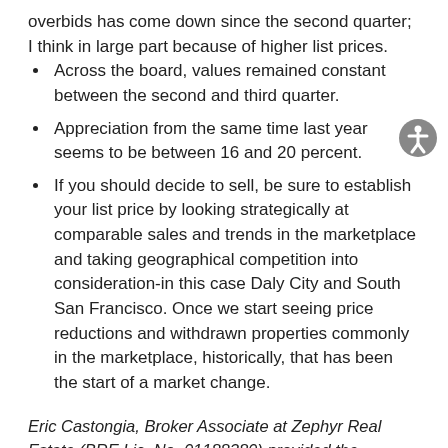overbids has come down since the second quarter; I think in large part because of higher list prices.
Across the board, values remained constant between the second and third quarter.
Appreciation from the same time last year seems to be between 16 and 20 percent.
If you should decide to sell, be sure to establish your list price by looking strategically at comparable sales and trends in the marketplace and taking geographical competition into consideration-in this case Daly City and South San Francisco. Once we start seeing price reductions and withdrawn properties commonly in the marketplace, historically, that has been the start of a market change.
Eric Castongia, Broker Associate at Zephyr Real Estate (BRE Lic. No. 01188380) provided the information in this article. The content of this article is an interpretation of data from the San Francisco Multiple Listing Service and Eric's observations in the marketplace; he is available to discuss your situation or any questions you may have. He can be reached by e-mail at Eric@SFHotBuy.com, or via mobile phone at (415)307-1700.